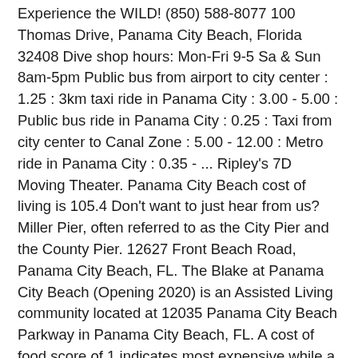Experience the WILD! (850) 588-8077 100 Thomas Drive, Panama City Beach, Florida 32408 Dive shop hours: Mon-Fri 9-5 Sa & Sun 8am-5pm Public bus from airport to city center : 1.25 : 3km taxi ride in Panama City : 3.00 - 5.00 : Public bus ride in Panama City : 0.25 : Taxi from city center to Canal Zone : 5.00 - 12.00 : Metro ride in Panama City : 0.35 - ... Ripley's 7D Moving Theater. Panama City Beach cost of living is 105.4 Don't want to just hear from us? Miller Pier, often referred to as the City Pier and the County Pier. 12627 Front Beach Road, Panama City Beach, FL. The Blake at Panama City Beach (Opening 2020) is an Assisted Living community located at 12035 Panama City Beach Parkway in Panama City Beach, FL. A cost of food score of 1 indicates most expensive while a 10 represents cheapest. Learn about what makes SkyWheel stand above the rest. Panama has a wide array of transportation options available to residents who don't own a car, but getting around can be complicated to a new ExPat, particularly if you don't speak Spanish. Visit Panama City Beach. Compare the flight distance to driving distance from Atlanta, GA to Panama City Beach, FL. Let us be your guide. Tuk Tuk Tours . Drop us a line, we'd love to hear from you! If the name of the city didn't give it away, the beach is the top attraction for visitors staying in our Panama City Beach vacation rentals